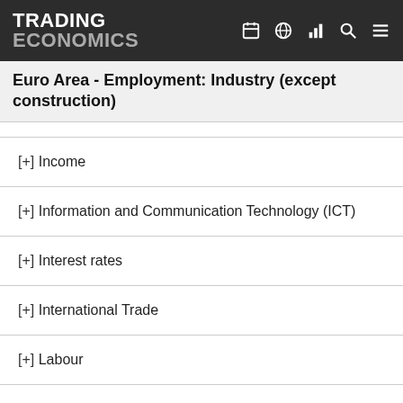TRADING ECONOMICS
Euro Area - Employment: Industry (except construction)
[+] Income
[+] Information and Communication Technology (ICT)
[+] Interest rates
[+] International Trade
[+] Labour
[+] National accounts
[+] Population
[+] Poverty